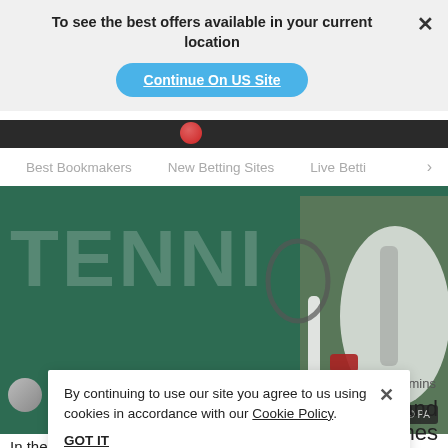To see the best offers available in your current location
Continue On US Site
[Figure (screenshot): Partial strip showing black background with red tennis ball]
Best Bookmakers   New Betting Sites   Live Betti >
[Figure (photo): Tennis player holding racket in front of green TENNIS signage background, © PA watermark]
4 mins
By continuing to use our site you agree to us using cookies in accordance with our Cookie Policy.
GOT IT
ulators and
imes
In the early rounds of tennis tournaments, there are